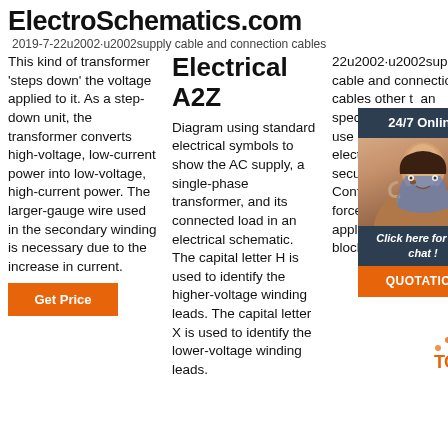ElectroSchematics.com 2019-7-22u2002·u2002supply cable and connection cables
Electrical A2Z
This kind of transformer 'steps down' the voltage applied to it. As a step-down unit, the transformer converts high-voltage, low-current power into low-voltage, high-current power. The larger-gauge wire used in the secondary winding is necessary due to the increase in current.
Diagram using standard electrical symbols to show the AC supply, a single-phase transformer, and its connected load in an electrical schematic. The capital letter H is used to identify the higher-voltage winding leads. The capital letter X is used to identify the lower-voltage winding leads.
2019-7-22u2002·u2002supply cable and connection cables other than specified, use ex cables use inc branch may ca electri re. Inst conne secure terminal block. Confi rm that external force of the cable is not applied to the terminal block. Use the specifi ed
[Figure (photo): Customer service representative with headset, smiling. Dark background with '24/7 Online' header and 'Click here for free chat!' call to action and QUOTATION button.]